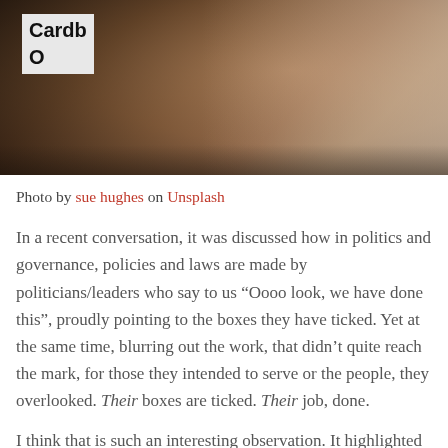[Figure (photo): Cropped photo of a horse wearing a bridle and harness, with a cardboard sign partially visible on the left reading 'Cardb...' and 'O...']
Photo by sue hughes on Unsplash
In a recent conversation, it was discussed how in politics and governance, policies and laws are made by politicians/leaders who say to us “Oooo look, we have done this”, proudly pointing to the boxes they have ticked. Yet at the same time, blurring out the work, that didn’t quite reach the mark, for those they intended to serve or the people, they overlooked. Their boxes are ticked. Their job, done.
I think that is such an interesting observation. It highlighted for me two things.